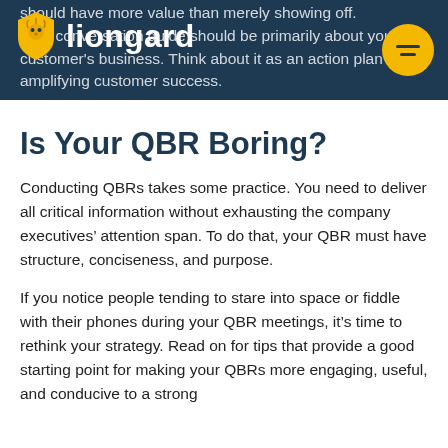liongard
should have more value than merely showing off. Your conversation guide should be primarily about your customer's business. Think about it as an action plan for amplifying customer success.
Is Your QBR Boring?
Conducting QBRs takes some practice. You need to deliver all critical information without exhausting the company executives' attention span. To do that, your QBR must have structure, conciseness, and purpose.
If you notice people tending to stare into space or fiddle with their phones during your QBR meetings, it's time to rethink your strategy. Read on for tips that provide a good starting point for making your QBRs more engaging, useful, and conducive to a strong